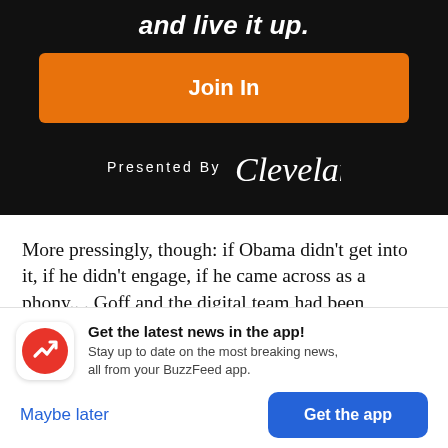and live it up.
Join In
Presented By Cleveland
More pressingly, though: if Obama didn't get into it, if he didn't engage, if he came across as a phony.. . Goff and the digital team had been kicking around the idea during a brainstorming session with
Get the latest news in the app! Stay up to date on the most breaking news, all from your BuzzFeed app.
Maybe later
Get the app